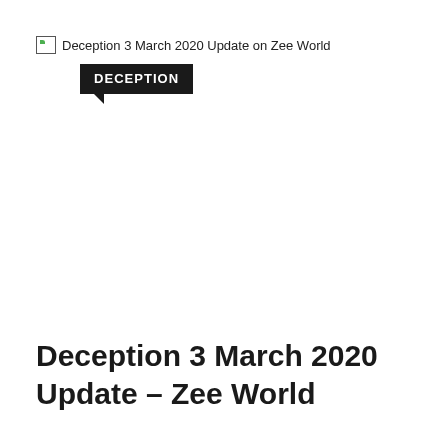[Figure (illustration): Broken image placeholder with alt text: Deception 3 March 2020 Update on Zee World]
[Figure (logo): Black badge/label with white bold text reading DECEPTION, with a speech-bubble-style pointed tail at the bottom-left]
Deception 3 March 2020 Update – Zee World